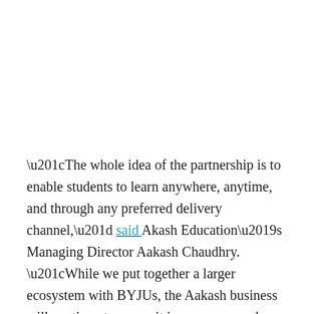“The whole idea of the partnership is to enable students to learn anywhere, anytime, and through any preferred delivery channel,” said Akash Education’s Managing Director Aakash Chaudhry. “While we put together a larger ecosystem with BYJUs, the Aakash business will continue to run as it is, as we expand our physical classroom centres and go deeper into tier-II and tier-III locations,” he added.